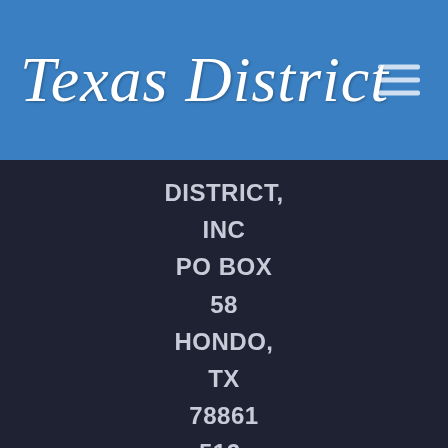Texas District
DISTRICT, INC
PO BOX
58
HONDO,
TX
78861
512-
942-
7776
Mobile Site